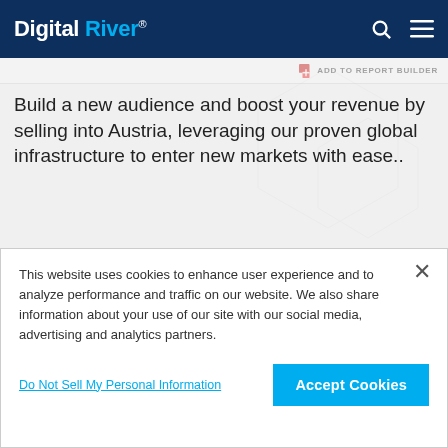Digital River®
Build a new audience and boost your revenue by selling into Austria, leveraging our proven global infrastructure to enter new markets with ease..
*The sale of certain products in this market may be subject to international export regulations. If you would like to learn more about selling into this market, lets chat.
This website uses cookies to enhance user experience and to analyze performance and traffic on our website. We also share information about your use of our site with our social media, advertising and analytics partners.
Do Not Sell My Personal Information
Accept Cookies